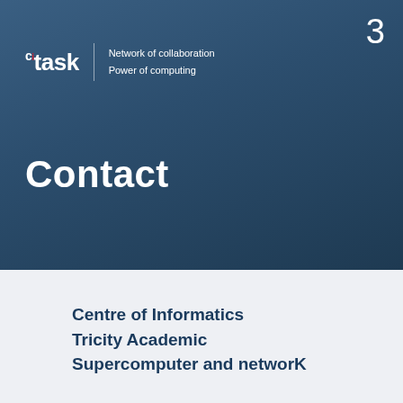3
[Figure (logo): CI Task logo with tagline: Network of collaboration, Power of computing]
Contact
Centre of Informatics Tricity Academic Supercomputer and networK